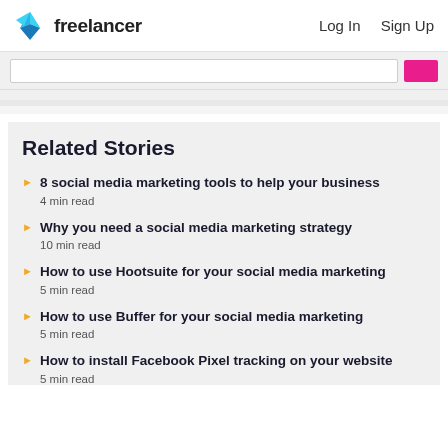freelancer   Log In   Sign Up
Related Stories
8 social media marketing tools to help your business
4 min read
Why you need a social media marketing strategy
10 min read
How to use Hootsuite for your social media marketing
5 min read
How to use Buffer for your social media marketing
5 min read
How to install Facebook Pixel tracking on your website
5 min read